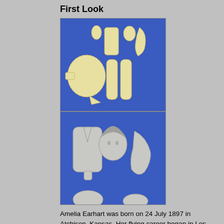First Look
[Figure (photo): Two photographs of unpainted resin model kit parts for an Amelia Earhart figurine, displayed on a blue background. Top photo shows cream/yellow resin parts including body torso, head, arms, legs, base, and small accessories laid out flat. Bottom photo shows gray resin parts including torso with jacket detail, head with hair, and arm pieces.]
Amelia Earhart was born on 24 July 1897 in Atchison, Kansas. Her flying career began in Los Angeles in 1921 when, at age 24, she took flying lessons from Neta Snook and bought her first airplane-- a Kinner Airstar. Due to family problems, she sold her airplane in 1924 and moved